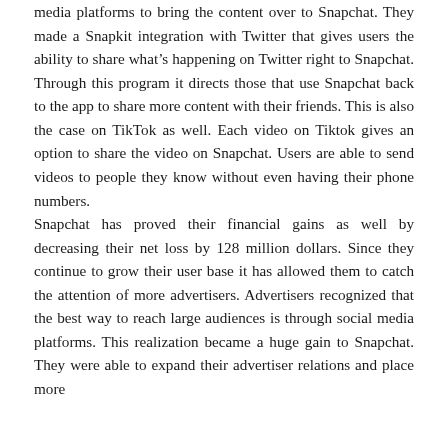media platforms to bring the content over to Snapchat. They made a Snapkit integration with Twitter that gives users the ability to share what's happening on Twitter right to Snapchat. Through this program it directs those that use Snapchat back to the app to share more content with their friends. This is also the case on TikTok as well. Each video on Tiktok gives an option to share the video on Snapchat. Users are able to send videos to people they know without even having their phone numbers. Snapchat has proved their financial gains as well by decreasing their net loss by 128 million dollars. Since they continue to grow their user base it has allowed them to catch the attention of more advertisers. Advertisers recognized that the best way to reach large audiences is through social media platforms. This realization became a huge gain to Snapchat. They were able to expand their advertiser relations and place more